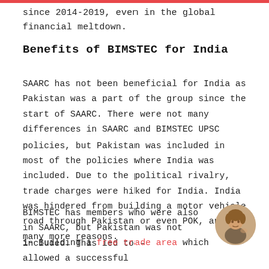since 2014-2019, even in the global financial meltdown.
Benefits of BIMSTEC for India
SAARC has not been beneficial for India as Pakistan was a part of the group since the start of SAARC. There were not many differences in SAARC and BIMSTEC UPSC policies, but Pakistan was included in most of the policies where India was included. Due to the political rivalry, trade charges were hiked for India. India was hindered from building a motor vehicle road through Pakistan or even POK, and many more reasons.
BIMSTEC has members who were also in SAARC, but Pakistan was not included. This led to –
[Figure (photo): Circular avatar photo of a person sitting at a desk]
1- Building a free trade area which allowed a successful